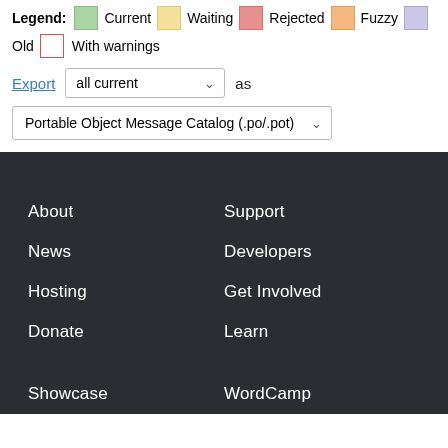Legend: Current Waiting Rejected Fuzzy Old With warnings
Export all current as Portable Object Message Catalog (.po/.pot)
About
Support
News
Developers
Hosting
Get Involved
Donate
Learn
Showcase
WordCamp